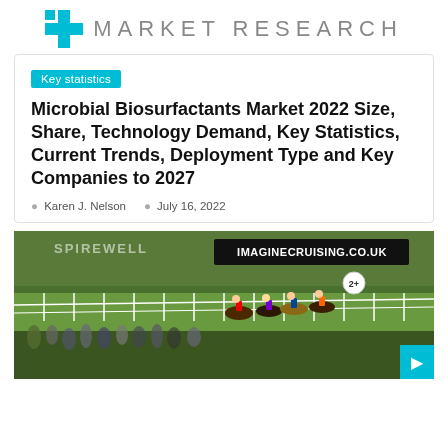MARKET RESEARCH
Key statistics
Microbial Biosurfactants Market 2022 Size, Share, Technology Demand, Key Statistics, Current Trends, Deployment Type and Key Companies to 2027
Karen J. Nelson   July 16, 2022
[Figure (photo): Horse racing scene at a racecourse with IMAGINECRUISING.CO.UK banner visible, crowd of spectators watching horses race along a grass track.]